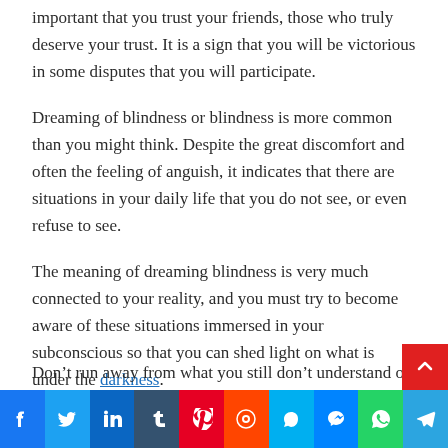important that you trust your friends, those who truly deserve your trust. It is a sign that you will be victorious in some disputes that you will participate.
Dreaming of blindness or blindness is more common than you might think. Despite the great discomfort and often the feeling of anguish, it indicates that there are situations in your daily life that you do not see, or even refuse to see.
The meaning of dreaming blindness is very much connected to your reality, and you must try to become aware of these situations immersed in your subconscious so that you can shed light on what is under the darkness.
Don't run away from what you still don't understand or
Facebook Twitter LinkedIn Tumblr Pinterest Reddit Skype Messenger WhatsApp Telegram